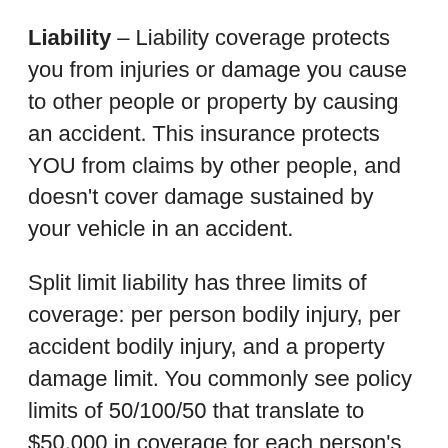Liability – Liability coverage protects you from injuries or damage you cause to other people or property by causing an accident. This insurance protects YOU from claims by other people, and doesn't cover damage sustained by your vehicle in an accident.
Split limit liability has three limits of coverage: per person bodily injury, per accident bodily injury, and a property damage limit. You commonly see policy limits of 50/100/50 that translate to $50,000 in coverage for each person's injuries, $100,000 for the entire accident, and a limit of $50,000 paid for damaged property.
Liability coverage pays for claims such as emergency